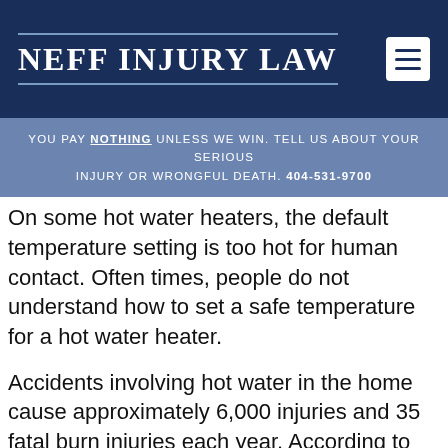NEFF INJURY LAW
You pay nothing unless we win. Tell us about your serious injury or wrongful death. 404-531-9700
On some hot water heaters, the default temperature setting is too hot for human contact. Often times, people do not understand how to set a safe temperature for a hot water heater.
Accidents involving hot water in the home cause approximately 6,000 injuries and 35 fatal burn injuries each year. According to the national Safe Kids campaign, around 5,000 children are scalded each year, usually in bathtubs. On average, the burn injury is a third-degree burn that covers 12 percent of the child's body. Interestingly, 54